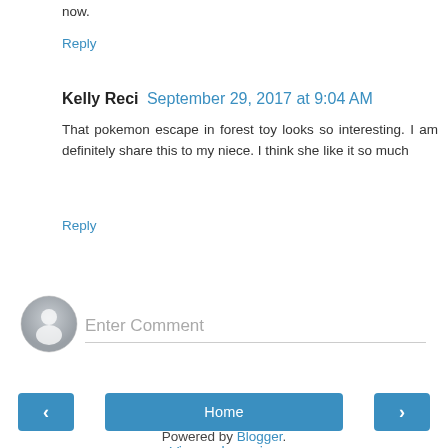now.
Reply
Kelly Reci  September 29, 2017 at 9:04 AM
That pokemon escape in forest toy looks so interesting. I am definitely share this to my niece. I think she like it so much
Reply
[Figure (other): User avatar circle with silhouette icon, gray gradient]
Enter Comment
< Home >
View web version
Powered by Blogger.